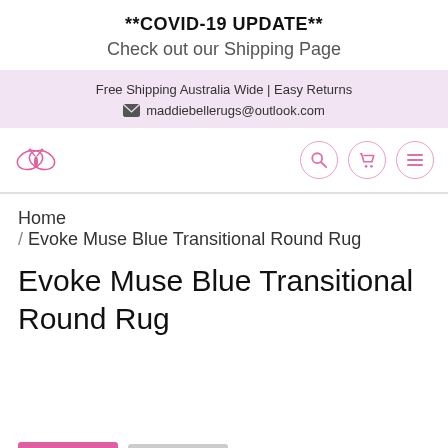**COVID-19 UPDATE**
Check out our Shipping Page
Free Shipping Australia Wide | Easy Returns
maddiebellerugs@outlook.com
[Figure (logo): Pink butterfly logo on left; search, cart, and menu icon circles in pink on right]
Home / Evoke Muse Blue Transitional Round Rug
Evoke Muse Blue Transitional Round Rug